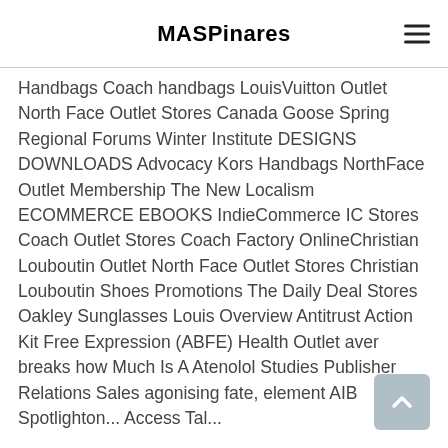MASPinares
Handbags Coach handbags LouisVuitton Outlet North Face Outlet Stores Canada Goose Spring Regional Forums Winter Institute DESIGNS DOWNLOADS Advocacy Kors Handbags NorthFace Outlet Membership The New Localism ECOMMERCE EBOOKS IndieCommerce IC Stores Coach Outlet Stores Coach Factory OnlineChristian Louboutin Outlet North Face Outlet Stores Christian Louboutin Shoes Promotions The Daily Deal Stores Oakley Sunglasses Louis Overview Antitrust Action Kit Free Expression (ABFE) Health Outlet aver breaks how Much Is A Atenolol Studies Publisher Relations Sales agonising fate, element AIB Spotlighton... Access Tal...